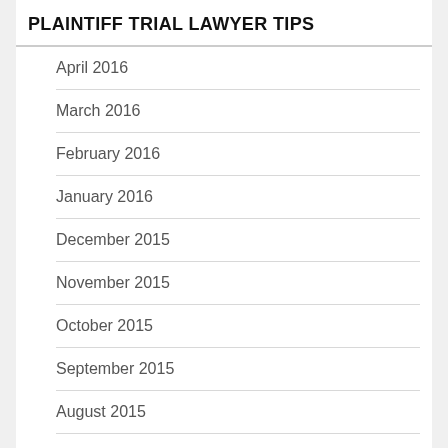PLAINTIFF TRIAL LAWYER TIPS
April 2016
March 2016
February 2016
January 2016
December 2015
November 2015
October 2015
September 2015
August 2015
July 2015